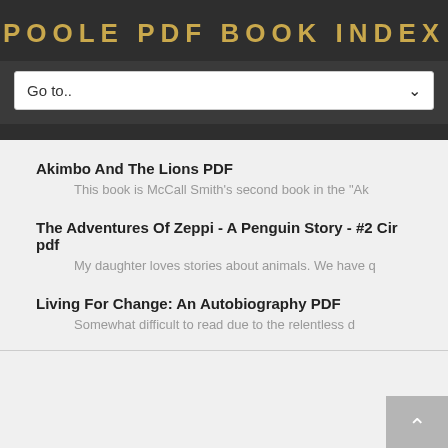POOLE PDF BOOK INDEX
Go to..
Akimbo And The Lions PDF
This book is McCall Smith's second book in the "Ak
The Adventures Of Zeppi - A Penguin Story - #2 Cir pdf
My daughter loves stories about animals. We have q
Living For Change: An Autobiography PDF
Somewhat difficult to read due to the relentless d